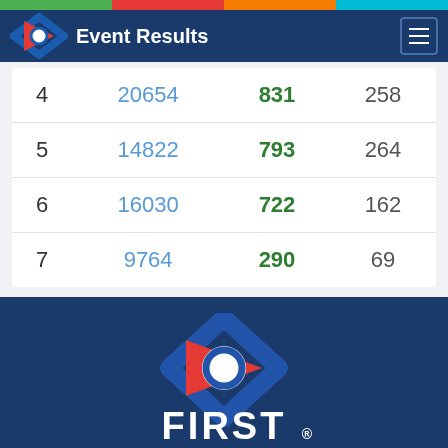Event Results
| Rank | Team | Score | High |
| --- | --- | --- | --- |
| 4 | 20654 | 831 | 258 |
| 5 | 14822 | 793 | 264 |
| 6 | 16030 | 722 | 162 |
| 7 | 9764 | 290 | 69 |
[Figure (logo): FIRST Tech Challenge logo — interlocking red triangle and blue diamond arrows with FIRST wordmark]
Copyright © FIRST Tech Challenge
Privacy & Legal